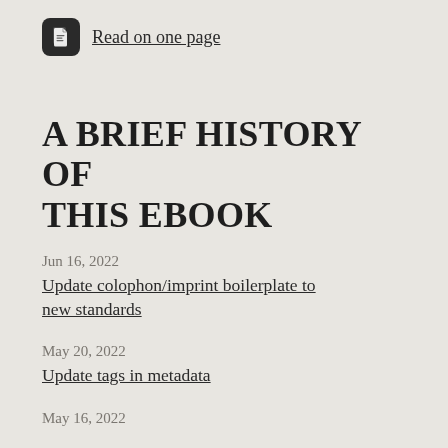Read on one page
A BRIEF HISTORY OF THIS EBOOK
Jun 16, 2022
Update colophon/imprint boilerplate to new standards
May 20, 2022
Update tags in metadata
May 16, 2022